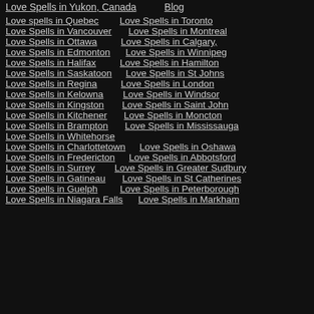Love Spells in Yukon, Canada   Blog
Love spells in Quebec   Love Spells in Toronto
Love Spells in Vancouver   Love Spells in Montreal
Love Spells in Ottawa   Love Spells in Calgary,
Love Spells in Edmonton   Love Spells in Winnipeg
Love Spells in Halifax   Love Spells in Hamilton
Love Spells in Saskatoon   Love Spells in St Johns
Love Spells in Regina   Love Spells in London
Love Spells in Kelowna   Love Spells in Windsor
Love Spells in Kingston   Love Spells in Saint John
Love Spells in Kitchener   Love Spells in Moncton
Love Spells in Brampton   Love Spells in Mississauga
Love Spells in Whitehorse
Love Spells in Charlottetown   Love Spells in Oshawa
Love Spells in Fredericton   Love Spells in Abbotsford
Love Spells in Surrey   Love Spells in Greater Sudbury
Love Spells in Gatineau   Love Spells in St Catherines
Love Spells in Guelph   Love Spells in Peterborough
Love Spells in Niagara Falls   Love Spells in Markham